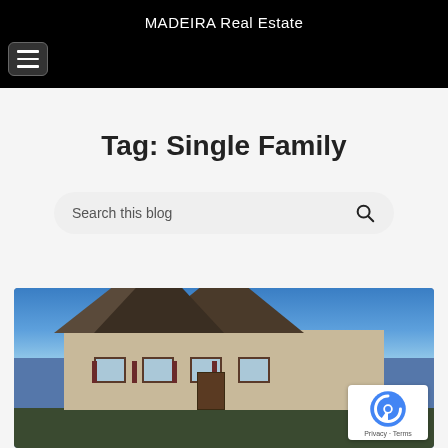MADEIRA Real Estate
Tag: Single Family
Search this blog
[Figure (photo): Exterior photo of a large two-story single family home with beige siding, dark shutters, and a brown shingled roof, set against a blue sky with bare trees in the background. A Google reCAPTCHA badge is overlaid in the bottom-right corner showing the reCAPTCHA logo and 'Privacy - Terms' text.]